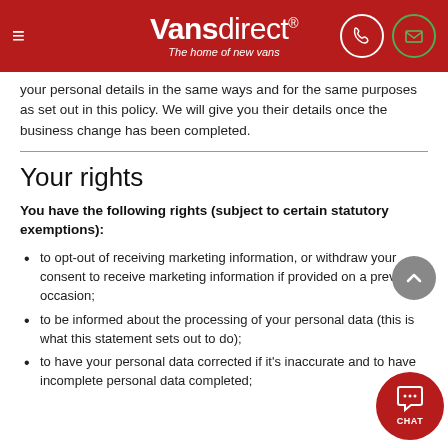Vansdirect® The home of new vans
your personal details in the same ways and for the same purposes as set out in this policy. We will give you their details once the business change has been completed.
Your rights
You have the following rights (subject to certain statutory exemptions):
to opt-out of receiving marketing information, or withdraw your consent to receive marketing information if provided on a previous occasion;
to be informed about the processing of your personal data (this is what this statement sets out to do);
to have your personal data corrected if it's inaccurate and to have incomplete personal data completed;